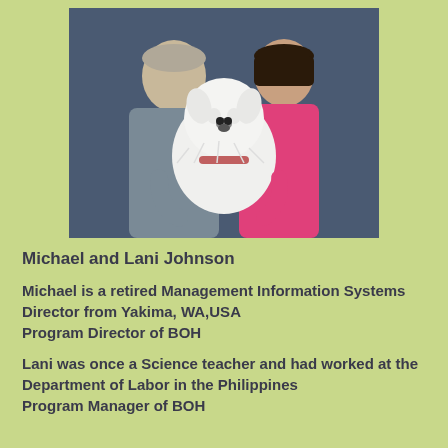[Figure (photo): A couple — a man in a gray shirt and a woman in a pink top — posing with a white West Highland Terrier dog in front of a blue studio backdrop.]
Michael and Lani Johnson
Michael is a retired Management Information Systems Director from Yakima, WA,USA
Program Director of BOH
Lani was once a Science teacher and had worked at the Department of Labor in the Philippines
Program Manager of BOH